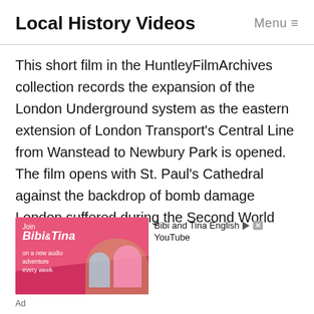Local History Videos
This short film in the HuntleyFilmArchives collection records the expansion of the London Underground system as the eastern extension of London Transport's Central Line from Wanstead to Newbury Park is opened. The film opens with St. Paul's Cathedral against the backdrop of bomb damage London suffered during the Second World
[Figure (other): Advertisement banner for Bibi and Tina English YouTube channel, showing cartoon characters on horseback with pink background. Text reads: Join Bibi & Tina on a new audio adventure every week.]
Ad